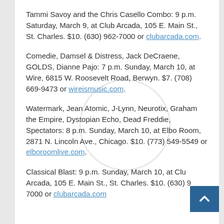Tammi Savoy and the Chris Casello Combo: 9 p.m. Saturday, March 9, at Club Arcada, 105 E. Main St., St. Charles. $10. (630) 962-7000 or clubarcada.com.
Comedie, Damsel & Distress, Jack DeCraene, GOLDS, Dianne Pajo: 7 p.m. Sunday, March 10, at Wire, 6815 W. Roosevelt Road, Berwyn. $7. (708) 669-9473 or wireismusic.com.
Watermark, Jean Atomic, J-Lynn, Neurotix, Graham the Empire, Dystopian Echo, Dead Freddie, Spectators: 8 p.m. Sunday, March 10, at Elbo Room, 2871 N. Lincoln Ave., Chicago. $10. (773) 549-5549 or elboroomlive.com.
Classical Blast: 9 p.m. Sunday, March 10, at Club Arcada, 105 E. Main St., St. Charles. $10. (630) 962-7000 or clubarcada.com